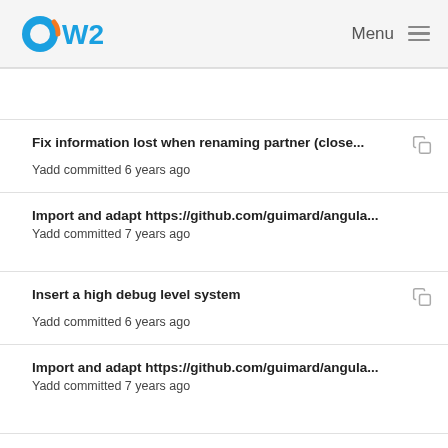OW2 | Menu
Fix information lost when renaming partner (close... — Yadd committed 6 years ago
Import and adapt https://github.com/guimard/angula... — Yadd committed 7 years ago
Insert a high debug level system — Yadd committed 6 years ago
Import and adapt https://github.com/guimard/angula... — Yadd committed 7 years ago
Insert a high debug level system — Yadd committed 6 years ago